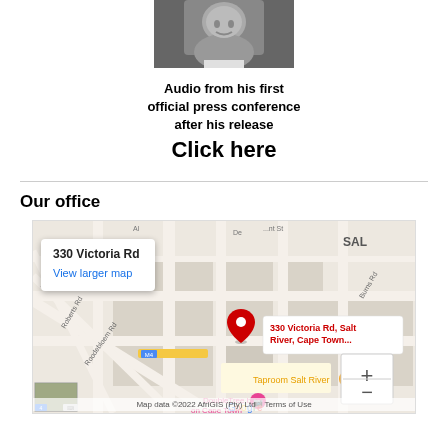[Figure (photo): Black and white photo of a person (partial face, smiling, wearing suit)]
Audio from his first official press conference after his release
Click here
Our office
[Figure (map): Google Maps embed showing 330 Victoria Rd, Salt River, Cape Town with a red pin marker, popup reading '330 Victoria Rd / View larger map', zoom controls, and footer 'Map data ©2022 AfriGIS (Pty) Ltd Terms of Use']